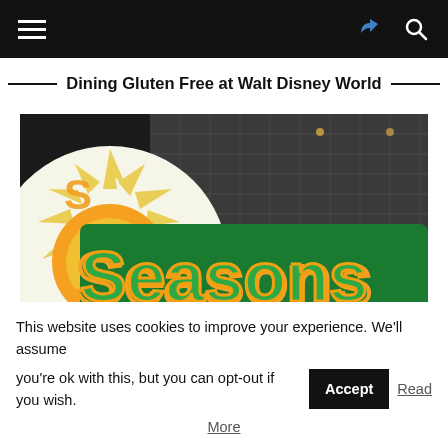Navigation bar with hamburger menu, share icon, and search icon
Dining Gluten Free at Walt Disney World
[Figure (photo): Photo of the 'Seasons' restaurant sign at Walt Disney World, showing a colorful retro sunburst sign with green and orange lettering on a dark background]
This website uses cookies to improve your experience. We'll assume you're ok with this, but you can opt-out if you wish. Accept Read More